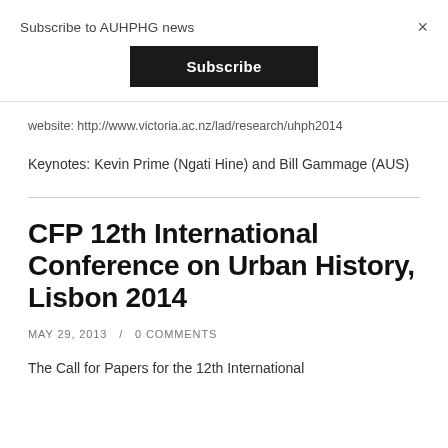Subscribe to AUHPHG news
×
Subscribe
website: http://www.victoria.ac.nz/lad/research/uhph2014
Keynotes: Kevin Prime (Ngati Hine) and Bill Gammage (AUS)
CFP 12th International Conference on Urban History, Lisbon 2014
MAY 29, 2013 / 0 COMMENTS
The Call for Papers for the 12th International